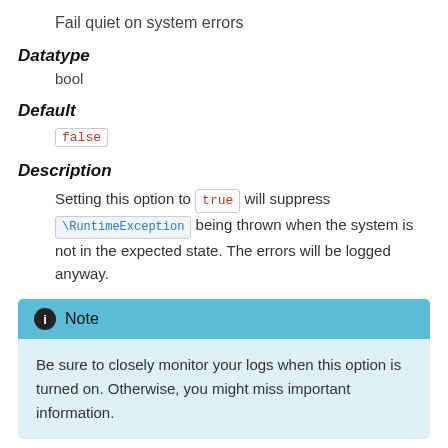Fail quiet on system errors
Datatype
bool
Default
false
Description
Setting this option to true will suppress \RuntimeException being thrown when the system is not in the expected state. The errors will be logged anyway.
Note
Be sure to closely monitor your logs when this option is turned on. Otherwise, you might miss important information.